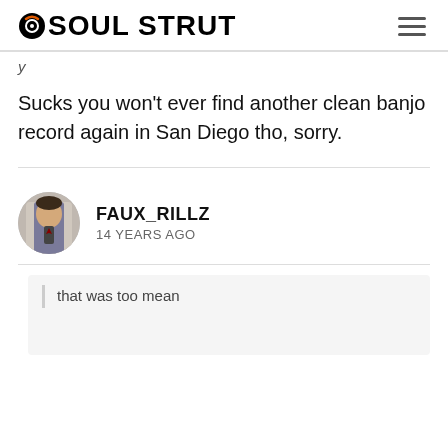SOUL STRUT
y
Sucks you won't ever find another clean banjo record again in San Diego tho, sorry.
FAUX_RILLZ
14 YEARS AGO
that was too mean